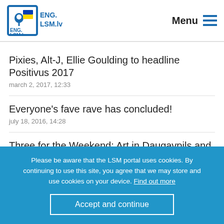ENG. LSM.lv — Menu
Pixies, Alt-J, Ellie Goulding to headline Positivus 2017
march 2, 2017, 12:33
Everyone's fave rave has concluded!
july 18, 2016, 14:28
Three for the Weekend: Art in Daugavpils and Cēsis, music in Salacgrīva
july 15, 2016, 13:00
Please be aware that the LSM portal uses cookies. By continuing to use this site, you agree that we may store and use cookies on your device. Find out more
Accept and continue